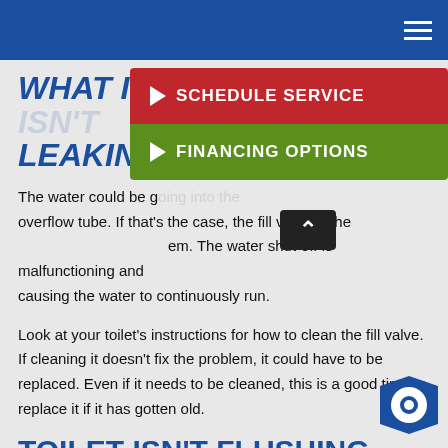Navigation header with hamburger menu
WHAT IF THE TANK ISN'T LEAKING?
The water could be going into the overflow tube. If that's the case, the fill valve is the problem. The water shut-off is malfunctioning and causing the water to continuously run.
Look at your toilet's instructions for how to clean the fill valve. If cleaning it doesn't fix the problem, it could have to be replaced. Even if it needs to be cleaned, this is a good time to replace it if it has gotten old.
TOILET ISN'T FLUSHING
[Figure (infographic): Red SCHEDULE SERVICE button with arrow and green FINANCING OPTIONS button with arrow, overlaid on content]